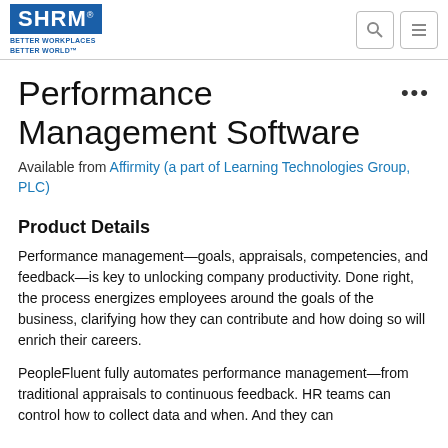SHRM — BETTER WORKPLACES BETTER WORLD™
Performance Management Software
Available from Affirmity (a part of Learning Technologies Group, PLC)
Product Details
Performance management—goals, appraisals, competencies, and feedback—is key to unlocking company productivity. Done right, the process energizes employees around the goals of the business, clarifying how they can contribute and how doing so will enrich their careers.
PeopleFluent fully automates performance management—from traditional appraisals to continuous feedback. HR teams can control how to collect data and when. And they can